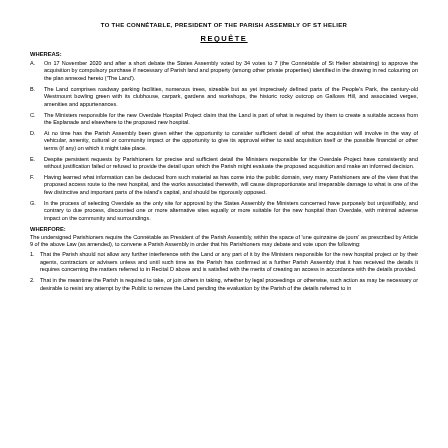TO THE CONNÉTABLE, PRESIDENT OF THE PARISH ASSEMBLY OF ST HELIER
REQUÊTE
WHEREAS:
A. On 17 November 2020 and after a short debate the States Assembly voted by 34 votes to 7 (the Connétable of St Helier abstaining) to approve the acquisition by compulsory purchase if necessary of Parish land and property (among other private properties) identified in the drawing in red colouring on the plan annexed hereto ('The Land').
B. The Land comprises roadway parking facilities, numerous trees, sizeable but as yet imprecisely defined parts of the People's Park, the century-old Westmount bowling green with its clubhouse, carpark, gardens and workshops, the historic rocky outcrop on Gallows Hill, and associated verges, amenities and appurtenances.
C. The Ministers responsible for the new Overdale Hospital Project claim that the Land is part of what is required by them to create a suitable access from the Esplanade and elsewhere to the proposed new hospital.
D. At no time has the Parish Assembly been given either the opportunity to consider sufficient detail of what the acquisition will involve in the way of vehicular, amenity, cultural or community impact or the opportunity to give its approval either to said acquisition itself or the possible financial or other terms (if any) on which it might take place.
E. Despite persistent requests by Parishioners for precise and sufficient detail the Ministers responsible for the Overdale Project have consistently and without justification failed or refused to provide the detail upon which the Parish might evaluate the proposed acquisition and make an informed decision.
F. Having learned what information can be deduced from such material as has come into the public domain, very many Parishioners are of the view that the proposed access route to the new hospital, and the works associated therewith, will cause disproportionate and irreparable damage to what is one of the few distinctive and important parts of the island's capital, and should be rigorously opposed.
G. In the process of selecting Overdale as the only site for approval by the States Assembly the Ministers concerned have purposely but unjustifiably, and contrary to due process, discounted one or more alternative sites equally or more suitable for the new hospital than Overdale, with minimal adverse impact on the community and surroundings.
WHERFORE:
The undersigned Parishioners require the Connétable as President of the Parish Assembly, within the space of 'une quinzaine de jours' as prescribed by Article 9 of the above Law (as amended), to convene a Parish Assembly in order that his Parishioners may debate and vote upon the following:
1. That the Parish should not allow any further interference with the Land or any part of it by the Ministers responsible for the new hospital project or by their agents, contractors or advisers unless and until such time as the Parish has confirmed at a further Parish Assembly that it has received the details it requires concerning the matters referred to in Recital D above and is satisfied with the merits of creating an access in accordance with the details provided.
2. That in the meantime the Parish is required to take, or join others in taking, whether by legal proceedings or otherwise, such action as may be necessary or desirable to resist any attempt by the Public to remove the Land pending the evaluation by the Parish of the details referred to in...